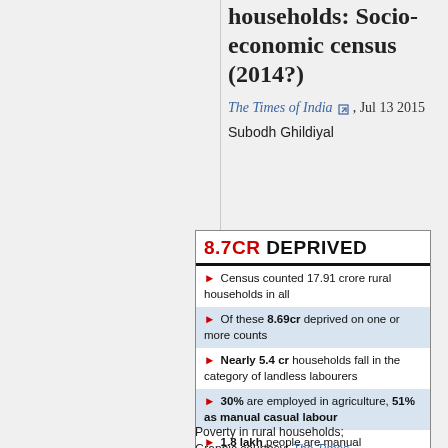households: Socio-economic census (2014?)
The Times of India, Jul 13 2015
Subodh Ghildiyal
[Figure (infographic): Infographic titled '8.7CR DEPRIVED' listing 5 bullet points about rural household poverty from the Socio-economic census: Census counted 17.91 crore rural households in all; Of these 8.69cr deprived on one or more counts; Nearly 5.4 cr households fall in the category of landless labourers; 30% are employed in agriculture, 51% as manual casual labour; 1.8 lakh people are manual scavengers]
Poverty in rural households; Graphic courtesy: The Times of India